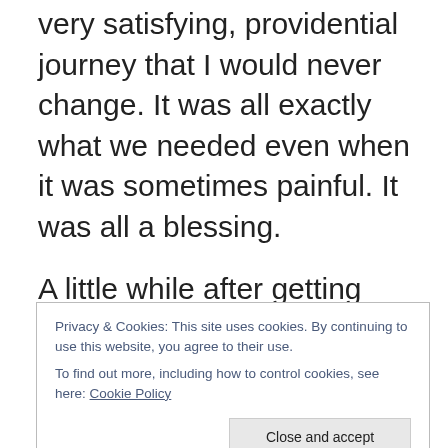very satisfying, providential journey that I would never change. It was all exactly what we needed even when it was sometimes painful. It was all a blessing.
A little while after getting settled in our new home, my husband shared with me that he felt like God would give us the opportunity to have another child, if we chose to, and that it wasn't a commandment but an opportunity to have an added blessing. He also felt that if we didn't choose it, we might not have that chance again, but that we would not be doing anything wrong. We would just
Privacy & Cookies: This site uses cookies. By continuing to use this website, you agree to their use.
To find out more, including how to control cookies, see here: Cookie Policy
Close and accept
haven't felt that urgency or even baby hungry. I know we